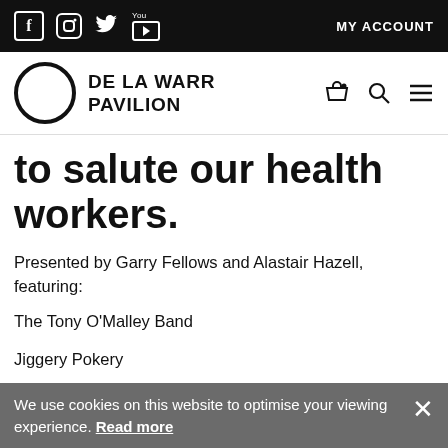De La Warr Pavilion – navigation bar with social icons and MY ACCOUNT link
[Figure (logo): De La Warr Pavilion logo: black circle outline with text DE LA WARR PAVILION]
to salute our health workers.
Presented by Garry Fellows and Alastair Hazell, featuring:
The Tony O'Malley Band
Jiggery Pokery
The Bexhill Harmony Singers
We use cookies on this website to optimise your viewing experience. Read more